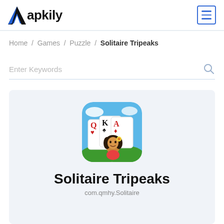apkily — hamburger menu icon
Home / Games / Puzzle / Solitaire Tripeaks
Enter Keywords
[Figure (illustration): Solitaire Tripeaks app icon — playing cards Q, K, A with a hula girl character on a tropical background, rounded square icon]
Solitaire Tripeaks
com.qmhy.Solitaire